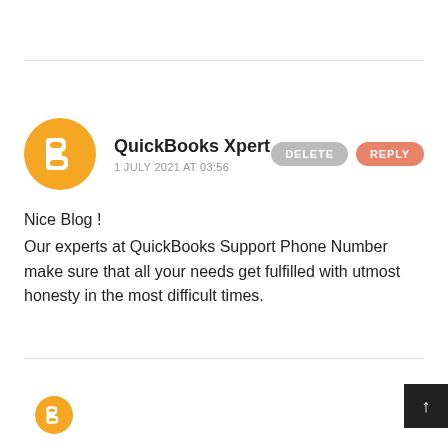[Figure (logo): Blogger avatar icon: orange circle with white 'B' letter logo]
QuickBooks Xpert
1 JULY 2021 AT 03:56
Nice Blog !
Our experts at QuickBooks Support Phone Number make sure that all your needs get fulfilled with utmost honesty in the most difficult times.